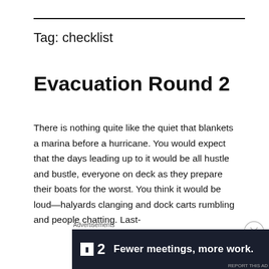Tag: checklist
Evacuation Round 2
There is nothing quite like the quiet that blankets a marina before a hurricane. You would expect that the days leading up to it would be all hustle and bustle, everyone on deck as they prepare their boats for the worst. You think it would be loud—halyards clanging and dock carts rumbling and people chatting. Last-
Advertisements
[Figure (other): Advertisement banner: F2 logo with text 'Fewer meetings, more work.' on dark background]